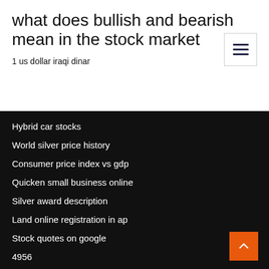what does bullish and bearish mean in the stock market
1 us dollar iraqi dinar
Hybrid car stocks
World silver price history
Consumer price index vs gdp
Quicken small business online
Silver award description
Land online registration in ap
Stock quotes on google
4956